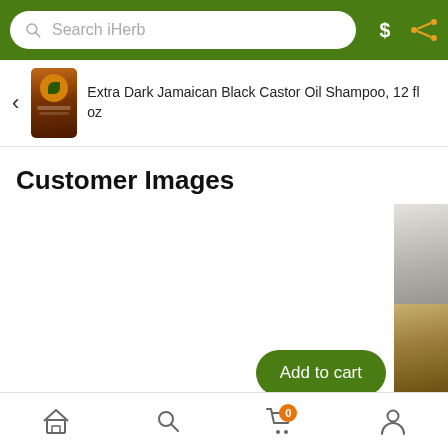Search iHerb
Extra Dark Jamaican Black Castor Oil Shampoo, 12 fl oz
Customer Images
[Figure (photo): Partial customer photo visible on right edge of screen]
Add to cart
View all 9 images
Home | Search | Cart (0) | Account